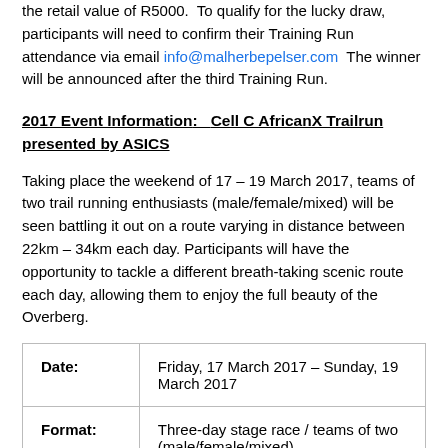the retail value of R5000.  To qualify for the lucky draw, participants will need to confirm their Training Run attendance via email info@malherbepelser.com  The winner will be announced after the third Training Run.
2017 Event Information:   Cell C AfricanX Trailrun presented by ASICS
Taking place the weekend of 17 – 19 March 2017, teams of two trail running enthusiasts (male/female/mixed) will be seen battling it out on a route varying in distance between 22km – 34km each day. Participants will have the opportunity to tackle a different breath-taking scenic route each day, allowing them to enjoy the full beauty of the Overberg.
| Date: | Friday, 17 March 2017 – Sunday, 19 March 2017 |
| Format: | Three-day stage race / teams of two (male/female/mixed) |